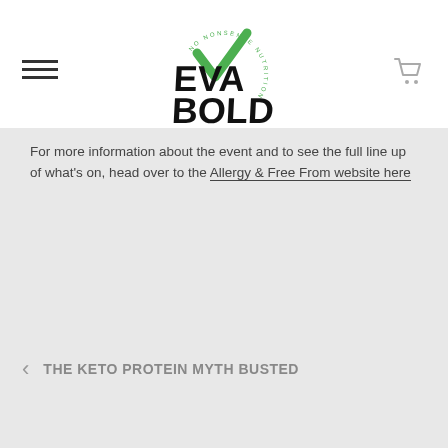[Figure (logo): Eva Bold logo with green checkmark above stylized hand-lettered text 'EVA BOLD' and circular text 'NO NONSENSE NUTRITION' below]
For more information about the event and to see the full line up of what's on, head over to the Allergy & Free From website here
< THE KETO PROTEIN MYTH BUSTED